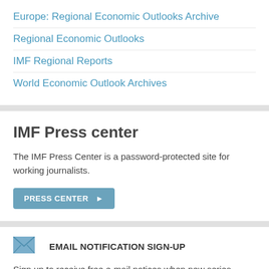Europe: Regional Economic Outlooks Archive
Regional Economic Outlooks
IMF Regional Reports
World Economic Outlook Archives
IMF Press center
The IMF Press Center is a password-protected site for working journalists.
PRESS CENTER ▶
EMAIL NOTIFICATION SIGN-UP
Sign up to receive free e-mail notices when new series and/or country items are posted on the IMF website.